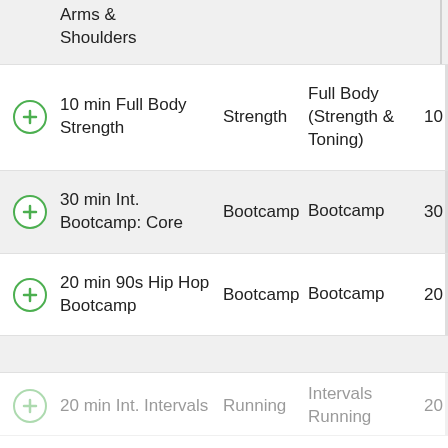Arms & Shoulders
10 min Full Body Strength | Strength | Full Body (Strength & Toning) | 10
30 min Int. Bootcamp: Core | Bootcamp | Bootcamp | 30
20 min 90s Hip Hop Bootcamp | Bootcamp | Bootcamp | 20
20 min Int. Intervals | Running | Intervals Running | 20